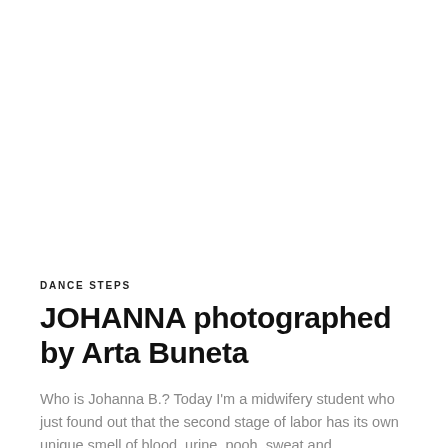DANCE STEPS
JOHANNA photographed by Arta Buneta
Who is Johanna B.? Today I'm a midwifery student who just found out that the second stage of labor has its own unique smell of blood, urine, pooh, sweat and...